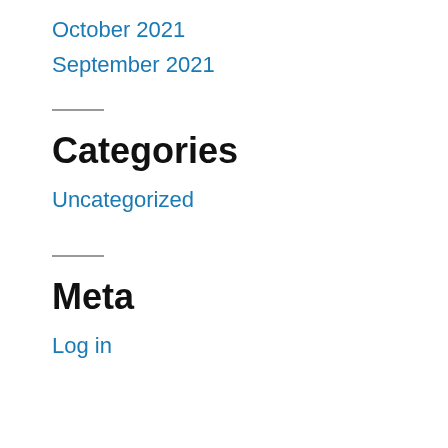October 2021
September 2021
Categories
Uncategorized
Meta
Log in